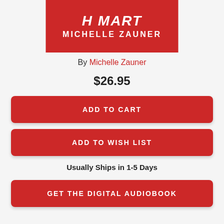[Figure (illustration): Book cover for a memoir, red background with title text 'H Mart' in italic white font and author name 'Michelle Zauner' in bold white uppercase letters]
By Michelle Zauner
$26.95
ADD TO CART
ADD TO WISH LIST
Usually Ships in 1-5 Days
GET THE DIGITAL AUDIOBOOK